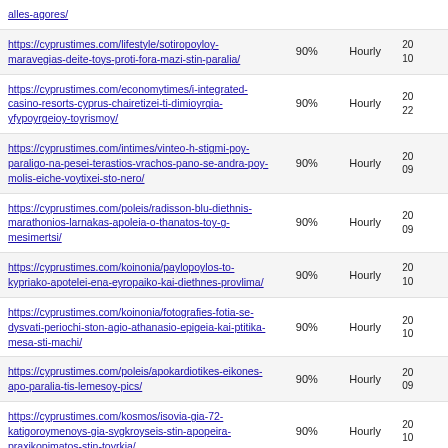| URL | Priority | Change Frequency | Last Modified |
| --- | --- | --- | --- |
| https://cyprustimes.com/lifestyle/sotiropoyloy-maravegias-deite-toys-proti-fora-mazi-stin-paralia/ | 90% | Hourly | 20
10 |
| https://cyprustimes.com/economytimes/i-integrated-casino-resorts-cyprus-chairetizei-ti-dimioyrgia-yfypoyrgeioy-toyrismoy/ | 90% | Hourly | 20
22 |
| https://cyprustimes.com/intimes/vinteo-h-stigmi-poy-paraligo-na-pesei-terastios-vrachos-pano-se-andra-poy-molis-eiche-voytixei-sto-nero/ | 90% | Hourly | 20
09 |
| https://cyprustimes.com/poleis/radisson-blu-diethnis-marathonios-larnakas-apoleia-o-thanatos-toy-g-mesimertsi/ | 90% | Hourly | 20
09 |
| https://cyprustimes.com/koinonia/paylopoylos-to-kypriako-apotelei-ena-eyropaiko-kai-diethnes-provlima/ | 90% | Hourly | 20
10 |
| https://cyprustimes.com/koinonia/fotografies-fotia-se-dysvati-periochi-ston-agio-athanasio-epigeia-kai-ptitika-mesa-sti-machi/ | 90% | Hourly | 20
10 |
| https://cyprustimes.com/poleis/apokardiotikes-eikones-apo-paralia-tis-lemesoy-pics/ | 90% | Hourly | 20
09 |
| https://cyprustimes.com/kosmos/isovia-gia-72-katigoroymenoys-gia-sygkroyseis-stin-apopeira-praxikopimatos-stin-toyrkia/ | 90% | Hourly | 20
10 |
| https://cyprustimes.com/koinonia/synechizetai-o-polemos-se-epikindyna-adiexoda-odigeitai-i-dimosia-ekpaideysi/ | 90% | Hourly | 20
10 |
| https://cyprustimes.com/koinonia/se-cheiroygiki-epemvasi-ypovlithike-o-dimitris-christofias/ | 90% | Hourly | 20
10 |